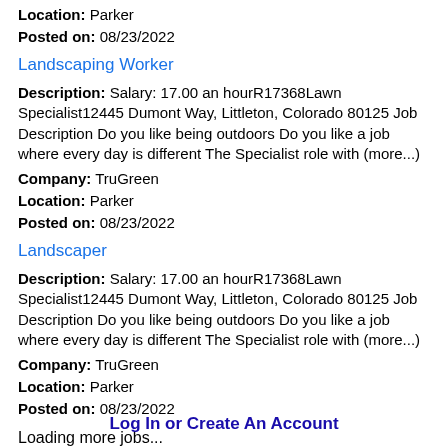Location: Parker
Posted on: 08/23/2022
Landscaping Worker
Description: Salary: 17.00 an hourR17368Lawn Specialist12445 Dumont Way, Littleton, Colorado 80125 Job Description Do you like being outdoors Do you like a job where every day is different The Specialist role with (more...)
Company: TruGreen
Location: Parker
Posted on: 08/23/2022
Landscaper
Description: Salary: 17.00 an hourR17368Lawn Specialist12445 Dumont Way, Littleton, Colorado 80125 Job Description Do you like being outdoors Do you like a job where every day is different The Specialist role with (more...)
Company: TruGreen
Location: Parker
Posted on: 08/23/2022
Loading more jobs...
Log In or Create An Account